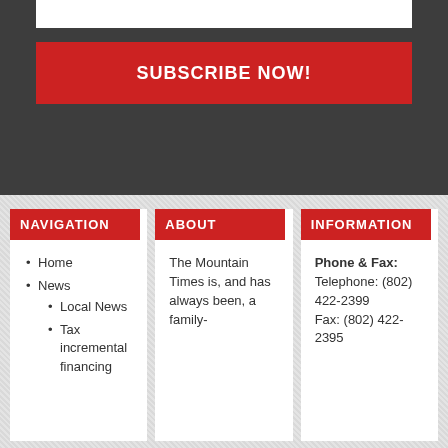[Figure (screenshot): White input box at top of dark grey subscription section]
SUBSCRIBE NOW!
NAVIGATION
Home
News
Local News
Tax incremental financing
ABOUT
The Mountain Times is, and has always been, a family-
INFORMATION
Phone & Fax: Telephone: (802) 422-2399 Fax: (802) 422-2395